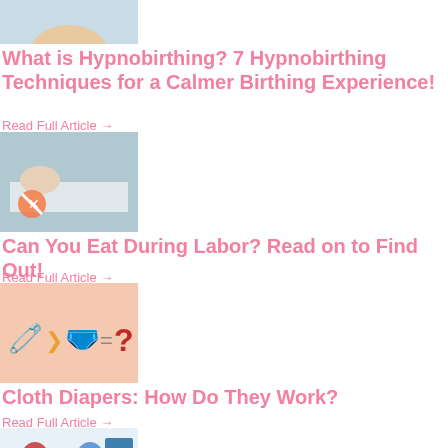[Figure (photo): Partial top image, cropped - appears to be a baby/birthing related photo]
What is Hypnobirthing? 7 Hypnobirthing Techniques for a Calmer Birthing Experience!
Read Full Article →
[Figure (photo): Medical/birthing scene with a no-eating symbol overlay]
Can You Eat During Labor? Read on to Find Out!
Read Full Article →
[Figure (illustration): Pink background with cloth diaper equation graphic: cloth diaper > diaper = question mark]
Cloth Diapers: How Do They Work?
Read Full Article →
[Figure (illustration): Illustration of pregnant woman with doctor, IVF related]
IVF Babies: Advantages and Disadvantages of Raising a Child Through IVF...